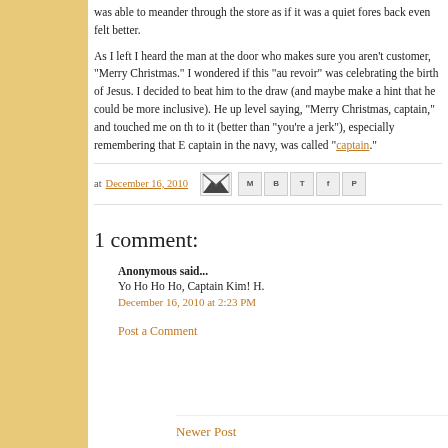was able to meander through the store as if it was a quiet fores back even felt better.
As I left I heard the man at the door who makes sure you aren't customer, "Merry Christmas." I wondered if this "au revoir" was celebrating the birth of Jesus. I decided to beat him to the draw (and maybe make a hint that he could be more inclusive). He up level saying, "Merry Christmas, captain," and touched me on th to it (better than "you're a jerk"), especially remembering that E captain in the navy, was called "captain."
at December 16, 2010
1 comment:
Anonymous said...
Yo Ho Ho Ho, Captain Kim! H.
December 16, 2010 at 2:23 PM
Post a Comment
Newer Post    Home